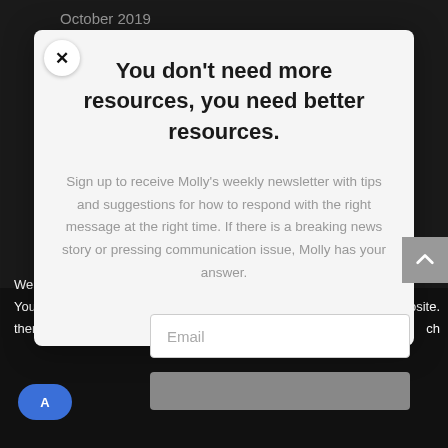October 2019
You don't need more resources, you need better resources.
Sign up to receive Molly's weekly newsletter with tips and suggestions for how to respond with the right message at the right time. If there is a breaking news story or pressing communication issue, Molly has your answer.
We a... You... then...
osite. ch